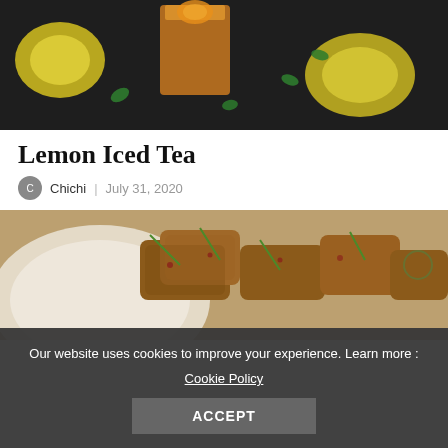[Figure (photo): Photo of an iced tea drink in a glass with lemon slices and mint leaves on a dark wooden surface]
Lemon Iced Tea
Chichi | July 31, 2020
[Figure (photo): Photo of fried or breaded food pieces garnished with green onions on a white plate]
Our website uses cookies to improve your experience. Learn more : Cookie Policy ACCEPT